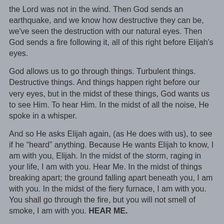the Lord was not in the wind.  Then God sends an earthquake, and we know how destructive they can be, we've seen the destruction with our natural eyes.  Then God sends a fire following it, all of this right before Elijah's eyes.
God allows us to go through things.  Turbulent things.  Destructive things.  And things happen right before our very eyes, but in the midst of these things, God wants us to see Him.  To hear Him.  In the midst of all the noise, He spoke in a whisper.
And so He asks Elijah again, (as He does with us), to see if he “heard” anything.  Because He wants Elijah to know, I am with you, Elijah.  In the midst of the storm, raging in your life, I am with you.  Hear Me.  In the midst of things breaking apart; the ground falling apart beneath you, I am with you.  In the midst of the fiery furnace, I am with you.  You shall go through the fire, but you will not smell of smoke, I am with you.  HEAR ME.
God is with you.  In the midst of whatever it is you are going through, He says, “I am with you.  Hear Me.”